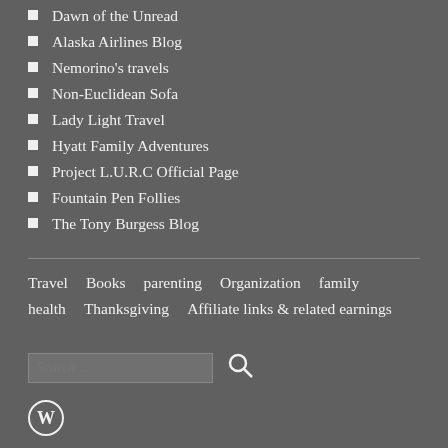Dawn of the Unread
Alaska Airlines Blog
Nemorino's travels
Non-Euclidean Sofa
Lady Light Travel
Hyatt Family Adventures
Project L.U.R.C Official Page
Fountain Pen Follies
The Tony Burgess Blog
Travel   Books   parenting   Organization   family   health   Thanksgiving   Affiliate links & related earnings
Search ...